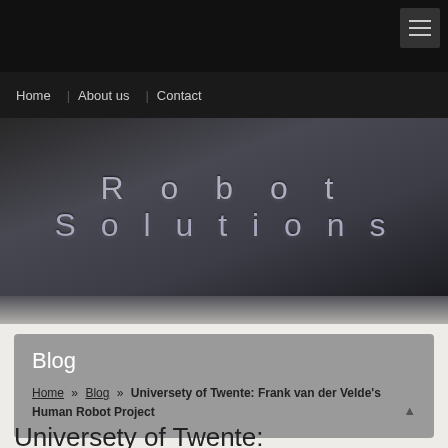Robot Solutions
Home | About us | Contact
[Figure (logo): Robot Solutions logo with large stylized text 'Robot Solutions' on a dark gradient background]
Blog
Home » Blog » Universety of Twente: Frank van der Velde's Human Robot Project
Universety of Twente: